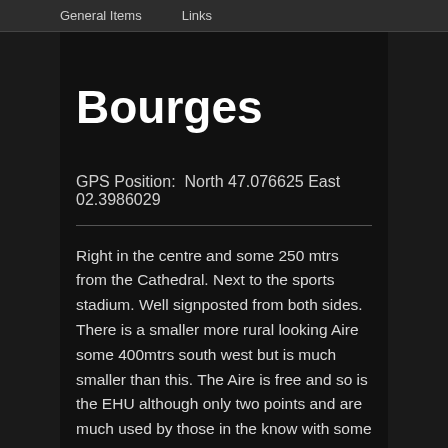General Items   Links
Bourges
GPS Position:  North 47.076625 East 02.3986029
Right in the centre and some 250 mtrs from the Cathedral. Next to the sports stadium. Well signposted from both sides. There is a smaller more rural looking Aire some 400mtrs south west but is much smaller than this. The Aire is free and so is the EHU although only two points and are much used by those in the know with some 6 campers hooked up to each plug. Long MH's may need to use the opposite side to the stadium as it is a bit longer however at 8.5mtrs we had plenty of room on the stadium side.  We were concerned that the athletes using the stadium would make it noisy at night